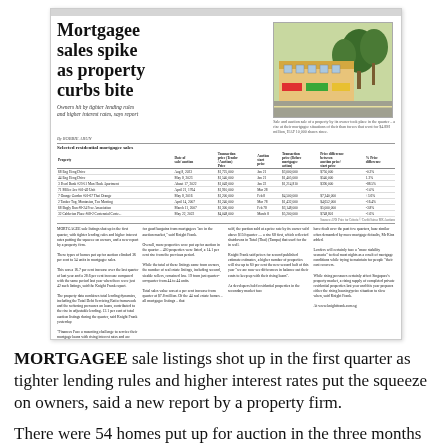[Figure (photo): Newspaper clipping about mortgagee sales spike, featuring a photo of shophouses/properties, a headline, subtitle, table of selected residential mortgagee sales, and body text columns.]
MORTGAGEE sale listings shot up in the first quarter as tighter lending rules and higher interest rates put the squeeze on owners, said a new report by a property firm.
There were 54 homes put up for auction in the three months